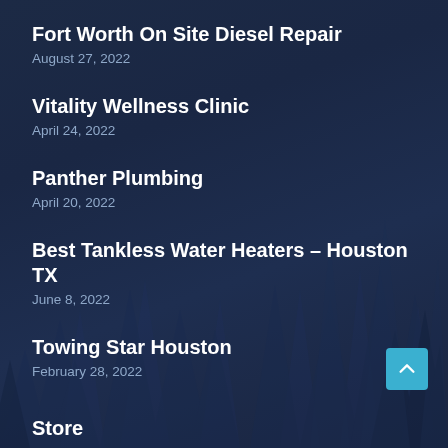Fort Worth On Site Diesel Repair
August 27, 2022
Vitality Wellness Clinic
April 24, 2022
Panther Plumbing
April 20, 2022
Best Tankless Water Heaters – Houston TX
June 8, 2022
Towing Star Houston
February 28, 2022
Store